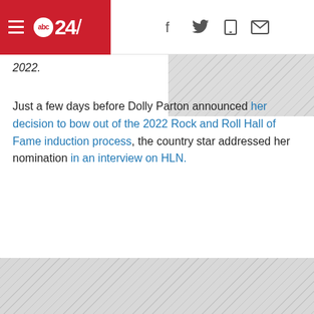abc24/ [navigation header with social icons]
2022.
Just a few days before Dolly Parton announced her decision to bow out of the 2022 Rock and Roll Hall of Fame induction process, the country star addressed her nomination in an interview on HLN.